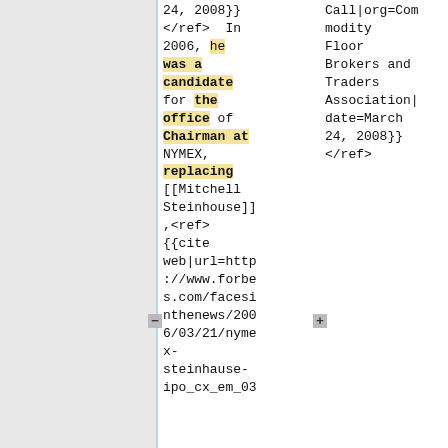24, 2008}} </ref>  In 2006, he was a candidate for the office of Chairman at NYMEX, replacing [[Mitchell Steinhouse]],<ref> {{cite web|url=http://www.forbes.com/facesinthenews/2006/03/21/nyme x-steinhause-ipo_cx_em_03
Call|org=Commodity Floor Brokers and Traders Association|date=March 24, 2008}} </ref>